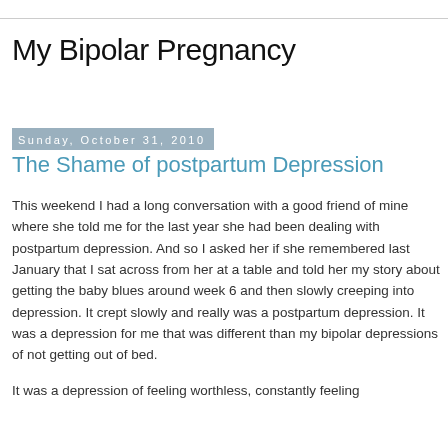My Bipolar Pregnancy
Sunday, October 31, 2010
The Shame of postpartum Depression
This weekend I had a long conversation with a good friend of mine where she told me for the last year she had been dealing with postpartum depression. And so I asked her if she remembered last January that I sat across from her at a table and told her my story about getting the baby blues around week 6 and then slowly creeping into depression. It crept slowly and really was a postpartum depression. It was a depression for me that was different than my bipolar depressions of not getting out of bed.
It was a depression of feeling worthless, constantly feeling